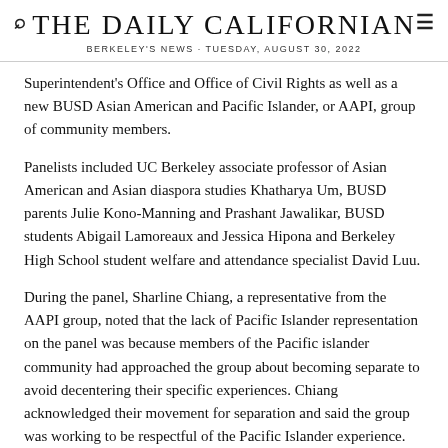THE DAILY CALIFORNIAN
BERKELEY'S NEWS · TUESDAY, AUGUST 30, 2022
Superintendent's Office and Office of Civil Rights as well as a new BUSD Asian American and Pacific Islander, or AAPI, group of community members.
Panelists included UC Berkeley associate professor of Asian American and Asian diaspora studies Khatharya Um, BUSD parents Julie Kono-Manning and Prashant Jawalikar, BUSD students Abigail Lamoreaux and Jessica Hipona and Berkeley High School student welfare and attendance specialist David Luu.
During the panel, Sharline Chiang, a representative from the AAPI group, noted that the lack of Pacific Islander representation on the panel was because members of the Pacific islander community had approached the group about becoming separate to avoid decentering their specific experiences. Chiang acknowledged their movement for separation and said the group was working to be respectful of the Pacific Islander experience.
After opening remarks, Vasudeo began by asking each of the